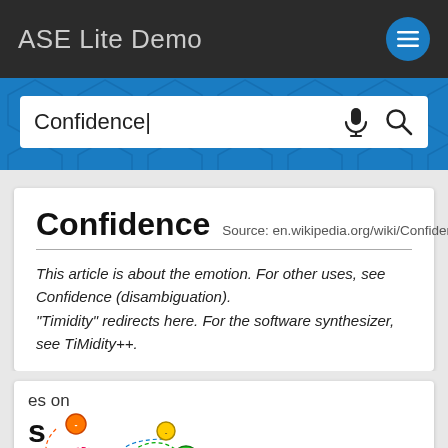ASE Lite Demo
Confidence
Confidence
Source: en.wikipedia.org/wiki/Confidence
This article is about the emotion. For other uses, see Confidence (disambiguation).
"Timidity" redirects here. For the software synthesizer, see TiMidity++.
es on
s
[Figure (network-graph): Partial view of a colored network/emotion graph with nodes in red, orange, yellow, and green colors connected by dashed arrows]